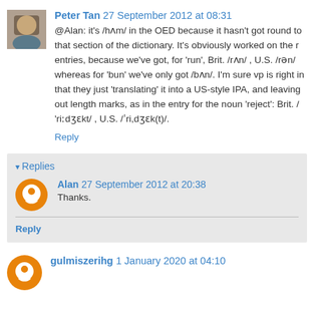Peter Tan 27 September 2012 at 08:31
@Alan: it's /hʌm/ in the OED because it hasn't got round to that section of the dictionary. It's obviously worked on the r entries, because we've got, for 'run', Brit. /rʌn/ , U.S. /rən/ whereas for 'bun' we've only got /bʌn/. I'm sure vp is right in that they just 'translating' it into a US-style IPA, and leaving out length marks, as in the entry for the noun 'reject': Brit. / 'riːdʒɛkt/ , U.S. /ˈri,dʒɛk(t)/.
Reply
Replies
Alan 27 September 2012 at 20:38
Thanks.
Reply
gulmiszerihg 1 January 2020 at 04:10